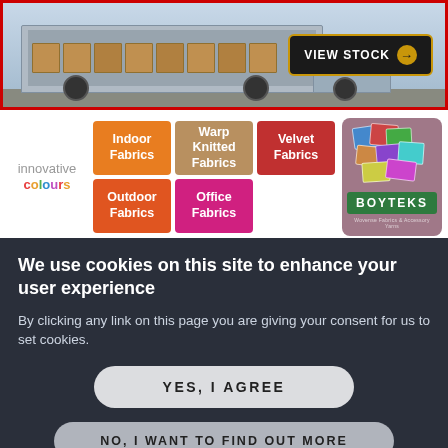[Figure (screenshot): Banner advertisement showing a delivery truck with boxes and a VIEW STOCK button with arrow, bordered in red]
[Figure (screenshot): Fabric category grid with tiles: innovative colours label, Indoor Fabrics (orange), Warp Knitted Fabrics (tan), Velvet Fabrics (red), Outdoor Fabrics (orange), Office Fabrics (magenta), and a Boyteks branded card with fabric swatches]
We use cookies on this site to enhance your user experience
By clicking any link on this page you are giving your consent for us to set cookies.
YES, I AGREE
NO, I WANT TO FIND OUT MORE